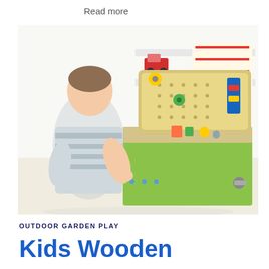Read more
[Figure (photo): A young toddler boy in a striped shirt playing with a wooden toy workbench/tool set. The workbench has a pegboard back panel with colorful gears, yellow and blue components, and small colorful pieces on the work surface. In the background are white shelves with toy trucks and a fire station playset.]
OUTDOOR GARDEN PLAY
Kids Wooden